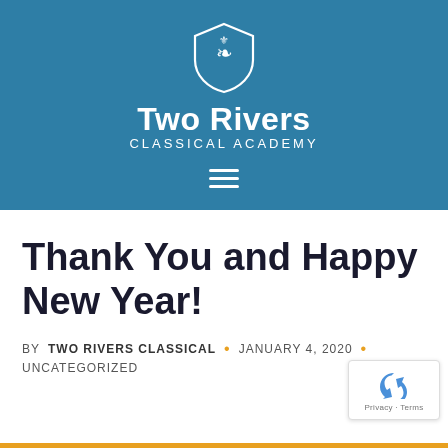[Figure (logo): Two Rivers Classical Academy logo with shield emblem, white text on teal background, with hamburger menu icon]
Thank You and Happy New Year!
BY TWO RIVERS CLASSICAL • JANUARY 4, 2020 • UNCATEGORIZED